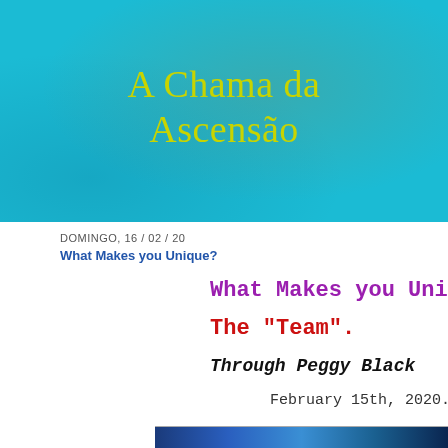[Figure (illustration): Teal/cyan colored banner background with subtle warm gradient overlay, serving as page header]
A Chama da Ascensão
DOMINGO, 16 / 02 / 20
What Makes you Unique?
What Makes you Unique?
The "Team".
Through Peggy Black
February 15th, 2020.
[Figure (photo): Partial image strip at bottom of page, dark blue tones]